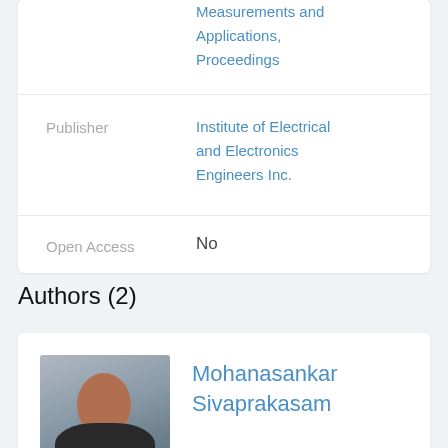Measurements and Applications, Proceedings
Publisher
Institute of Electrical and Electronics Engineers Inc.
Open Access
No
Authors (2)
[Figure (photo): Portrait photo of Mohanasankar Sivaprakasam]
Mohanasankar Sivaprakasam